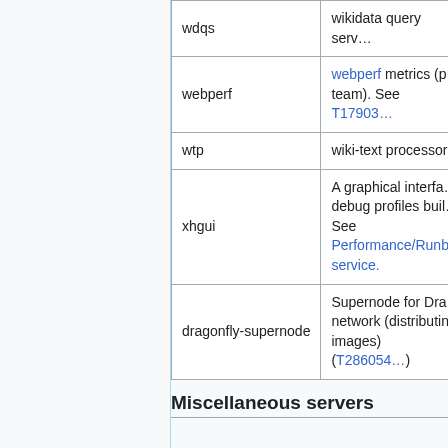| Name | Description |
| --- | --- |
| wdqs | wikidata query serv… |
| webperf | webperf metrics (p… team). See T17903… |
| wtp | wiki-text processor… |
| xhgui | A graphical interfa… debug profiles buil… See Performance/Runb… service. |
| dragonfly-supernode | Supernode for Dra… network (distributin… images) (T286054…) |
Miscellaneous servers